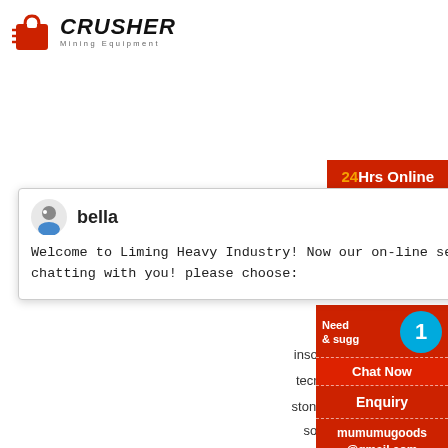[Figure (logo): Crusher Mining Equipment logo with red shopping bag icon and bold italic CRUSHER text]
[Figure (screenshot): 24Hrs Online chat popup from Liming Heavy Industry with avatar named bella, showing welcome message]
SEE CASE
insoluble anhydrite and cement grind
tecnicas de trituracion de los minera
stone crusher plant in raigarh chhattis
solar pump manufacturer in china
[Figure (screenshot): Right sidebar with Need & suggestions, Chat Now button, Enquiry link, and mumumugoods@gmail.com email, badge showing '1']